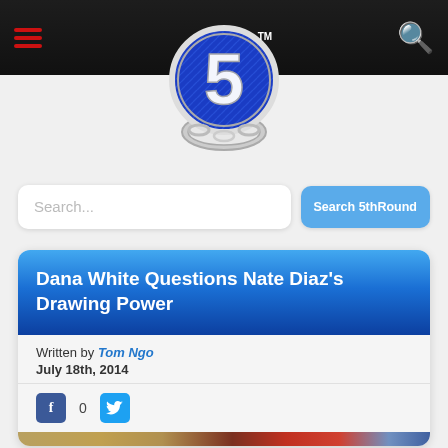5thRound website header with hamburger menu and search icon
[Figure (logo): 5thRound logo — blue metallic circle with large '5' and chain/horseshoe design, TM mark]
Search...
Search 5thRound
Dana White Questions Nate Diaz's Drawing Power
Written by Tom Ngo
July 18th, 2014
[Figure (screenshot): Partial image showing UFC branding at bottom of page]